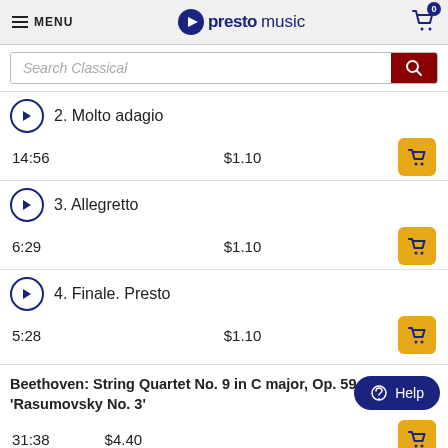MENU | prestomusic | Cart: 0
Search Classical
2. Molto adagio — 14:56 — $1.10
3. Allegretto — 6:29 — $1.10
4. Finale. Presto — 5:28 — $1.10
Beethoven: String Quartet No. 9 in C major, Op. 59, No. 3 'Rasumovsky No. 3'
31:38   $4.40
Takács Quartet (string quartet), Edward Dusinberre (violin), Károly